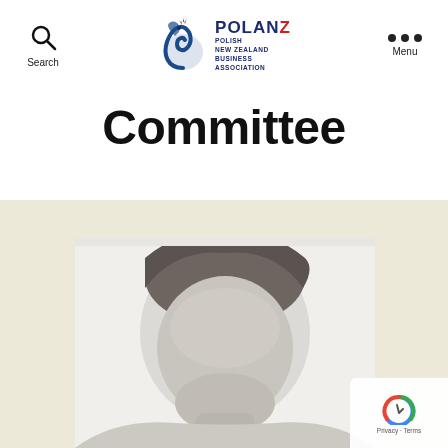Search | POLANZ Polish New Zealand Business Association | Menu
Committee
[Figure (photo): Black and white portrait photo of a person, cropped to show head and upper shoulders, set against a beige background section.]